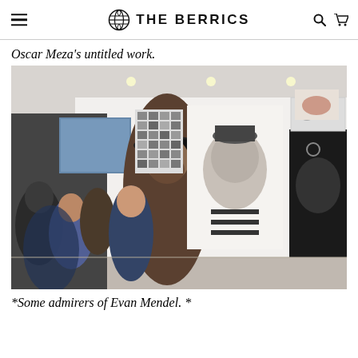THE BERRICS
Oscar Meza's untitled work.
[Figure (photo): Gallery visitors viewing artwork on a white wall, including large black and white portrait paintings and smaller framed works. People stand in the foreground looking at the art.]
*Some admirers of Evan Mendel. *